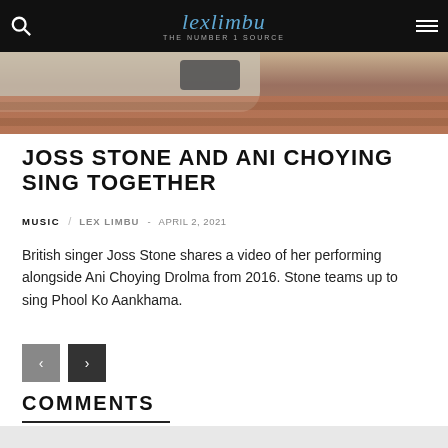lexlimbu THE NUMBER 1 SOURCE
[Figure (photo): Partial photo showing clothing and tiled floor, from a video or event scene.]
JOSS STONE AND ANI CHOYING SING TOGETHER
MUSIC  /  LEX LIMBU  -  APRIL 2, 2021
British singer Joss Stone shares a video of her performing alongside Ani Choying Drolma from 2016. Stone teams up to sing Phool Ko Aankhama.
COMMENTS